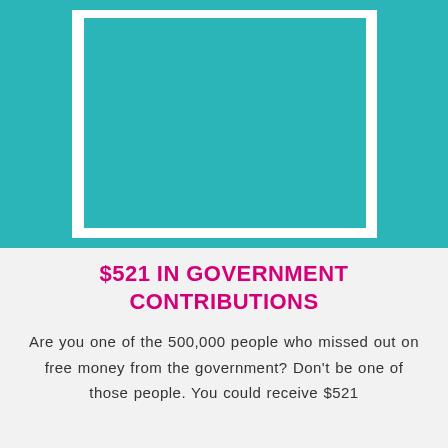[Figure (illustration): Teal/turquoise decorative background with a white-framed rectangle containing a teal interior panel, positioned in the upper half of the page.]
$521 IN GOVERNMENT CONTRIBUTIONS
Are you one of the 500,000 people who missed out on free money from the government? Don't be one of those people. You could receive $521